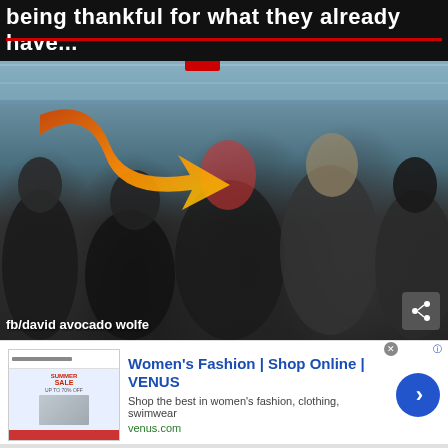[Figure (photo): Meme image showing a crowd of people fighting/scrambling in a retail store on Black Friday, with an orange arrow pointing at someone in the crowd. Text overlay at top reads 'being thankful for what they already have...' with a red underline. Watermark reads 'fb/david avocado wolfe'.]
Women's Fashion | Shop Online | VENUS
Shop the best in women's fashion, clothing, swimwear
venus.com